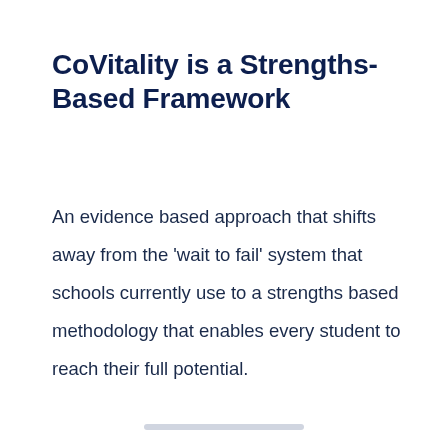CoVitality is a Strengths-Based Framework
An evidence based approach that shifts away from the 'wait to fail' system that schools currently use to a strengths based methodology that enables every student to reach their full potential.